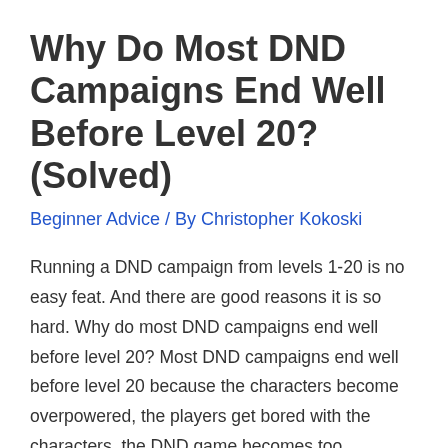Why Do Most DND Campaigns End Well Before Level 20? (Solved)
Beginner Advice / By Christopher Kokoski
Running a DND campaign from levels 1-20 is no easy feat. And there are good reasons it is so hard. Why do most DND campaigns end well before level 20? Most DND campaigns end well before level 20 because the characters become overpowered, the players get bored with the characters, the DND game becomes too …